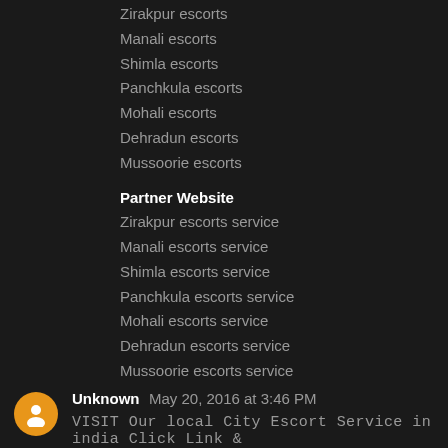Zirakpur escorts
Manali escorts
Shimla escorts
Panchkula escorts
Mohali escorts
Dehradun escorts
Mussoorie escorts
Partner Website
Zirakpur escorts service
Manali escorts service
Shimla escorts service
Panchkula escorts service
Mohali escorts service
Dehradun escorts service
Mussoorie escorts service
Reply
Unknown May 20, 2016 at 3:46 PM
VISIT Our local City Escort Service in india Click Link &